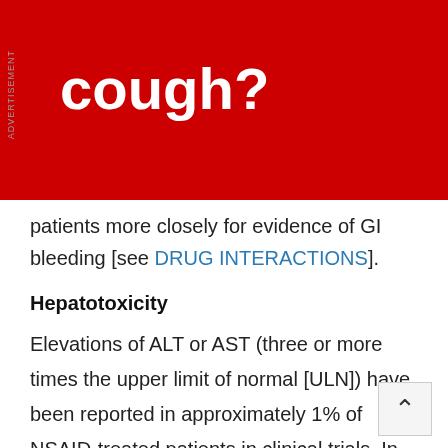[Figure (other): Red advertisement banner with white bold text reading 'cough?' and a vertical 'ADVERTISEMENT' label on the left side]
patients more closely for evidence of GI bleeding [see DRUG INTERACTIONS].
Hepatotoxicity
Elevations of ALT or AST (three or more times the upper limit of normal [ULN]) have been reported in approximately 1% of NSAID-treated patients in clinical trials. In addition, rare, sometimes fatal, cases of severe hepatic injury, including fulminant hepatitis, liver necrosis, and hepatic failure have been reported.